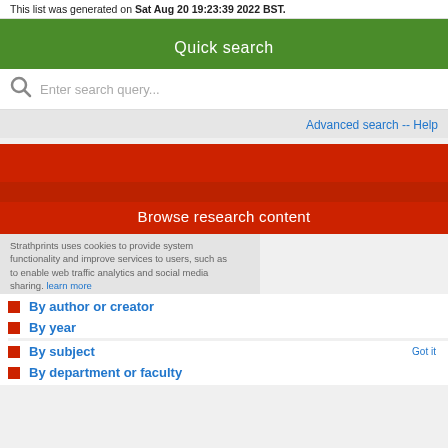This list was generated on Sat Aug 20 19:23:39 2022 BST.
Quick search
Enter search query...
Advanced search -- Help
Browse research content
Strathprints uses cookies to provide system functionality and improve services to users, such as to enable web traffic analytics and social media sharing. learn more
By author or creator
By year
By subject
By department or faculty